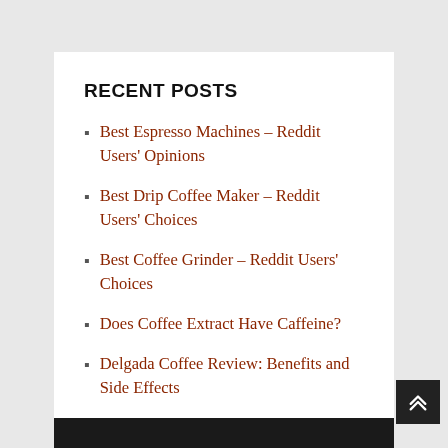RECENT POSTS
Best Espresso Machines – Reddit Users' Opinions
Best Drip Coffee Maker – Reddit Users' Choices
Best Coffee Grinder – Reddit Users' Choices
Does Coffee Extract Have Caffeine?
Delgada Coffee Review: Benefits and Side Effects